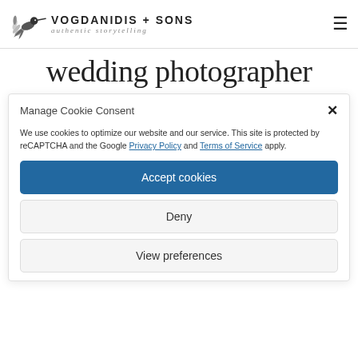[Figure (logo): Vogdanidis + Sons hummingbird logo with text 'VOGDANIDIS + SONS' and tagline 'authentic storytelling']
wedding photographer
Manage Cookie Consent
We use cookies to optimize our website and our service. This site is protected by reCAPTCHA and the Google Privacy Policy and Terms of Service apply.
Accept cookies
Deny
View preferences